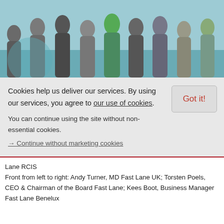[Figure (photo): Group photo of people standing together, cropped at the top of the page against a teal/blue background]
Cookies help us deliver our services. By using our services, you agree to our use of cookies.
You can continue using the site without non-essential cookies.
→ Continue without marketing cookies
Lane RCIS
Front from left to right: Andy Turner, MD Fast Lane UK; Torsten Poels, CEO & Chairman of the Board Fast Lane; Kees Boot, Business Manager Fast Lane Benelux